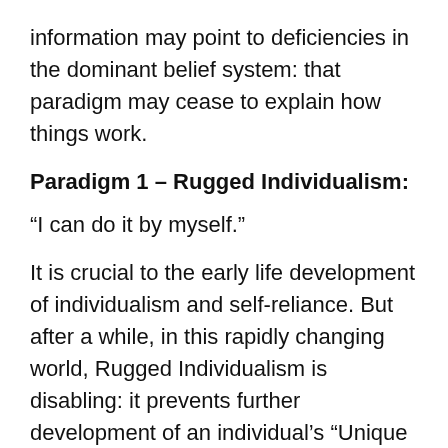information may point to deficiencies in the dominant belief system: that paradigm may cease to explain how things work.
Paradigm 1 – Rugged Individualism:
“I can do it by myself.”
It is crucial to the early life development of individualism and self-reliance. But after a while, in this rapidly changing world, Rugged Individualism is disabling: it prevents further development of an individual’s “Unique Abilities.”
Unless a shift away from Rugged Individualism is made, a person’s time and effort are spent on activities where he or she has little ability.